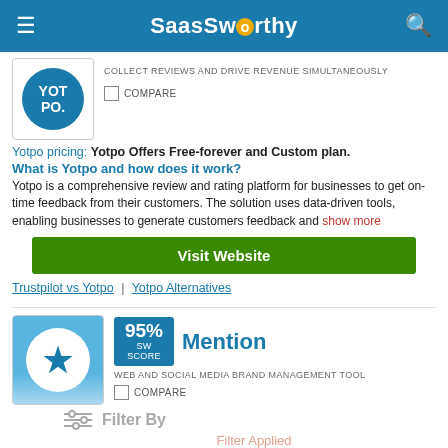SaaSworthy
[Figure (logo): Yotpo logo - blue circle with YOT PO. text in white]
COLLECT REVIEWS AND DRIVE REVENUE SIMULTANEOUSLY
COMPARE
Yotpo pricing: Yotpo Offers Free-forever and Custom plan.
What is Yotpo and how does it work?
Yotpo is a comprehensive review and rating platform for businesses to get on-time feedback from their customers. The solution uses data-driven tools, enabling businesses to generate customers feedback and show more
Visit Website
Trustpilot vs Yotpo | Yotpo Alternatives
[Figure (logo): Mention logo - blue background with white star in circle]
95% SW SCORE Mention
WEB AND SOCIAL MEDIA BRAND MANAGEMENT TOOL
COMPARE
Filter By Filter Applied
Mention pricing: Starts at $24.0. Offers Free-forever and Custom plan.